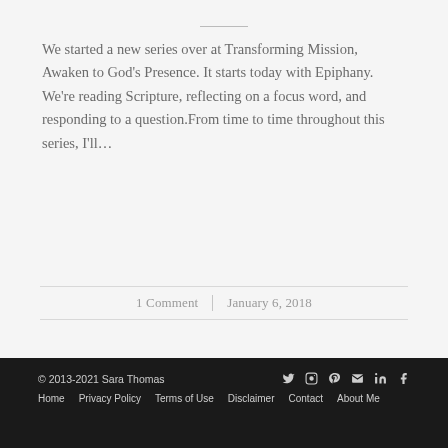We started a new series over at Transforming Mission, Awaken to God's Presence. It starts today with Epiphany. We're reading Scripture, reflecting on a focus word, and responding to a question.From time to time throughout this series, I'll…
1 Comment | January 6, 2018
© 2013-2021 Sara Thomas | Home | Privacy Policy | Terms of Use | Disclaimer | Contact | About Me